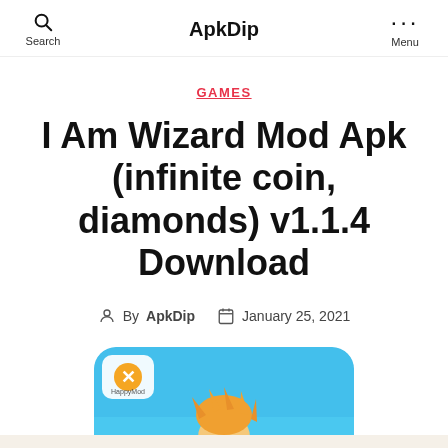Search | ApkDip | Menu
GAMES
I Am Wizard Mod Apk (infinite coin, diamonds) v1.1.4 Download
By ApkDip  January 25, 2021
[Figure (screenshot): Game app icon showing a wizard character with orange hair against a blue background, with a HappyMod logo overlay in the top left corner]